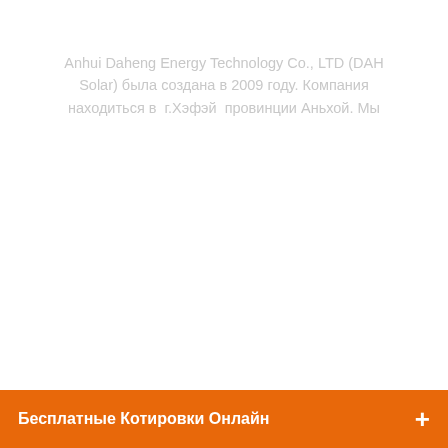Anhui Daheng Energy Technology Co., LTD (DAH Solar) была создана в 2009 году. Компания находиться в  г.Хэфэй  провинции Аньхой. Мы
Бесплатные Котировки Онлайн +